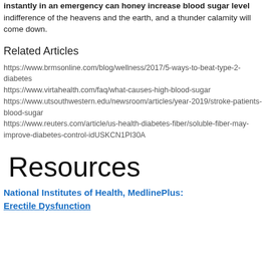instantly in an emergency can honey increase blood sugar level indifference of the heavens and the earth, and a thunder calamity will come down.
Related Articles
https://www.brmsonline.com/blog/wellness/2017/5-ways-to-beat-type-2-diabetes
https://www.virtahealth.com/faq/what-causes-high-blood-sugar
https://www.utsouthwestern.edu/newsroom/articles/year-2019/stroke-patients-blood-sugar
https://www.reuters.com/article/us-health-diabetes-fiber/soluble-fiber-may-improve-diabetes-control-idUSKCN1PI30A
Resources
National Institutes of Health, MedlinePlus: Erectile Dysfunction